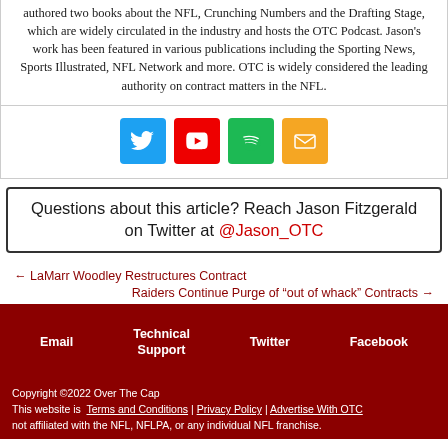authored two books about the NFL, Crunching Numbers and the Drafting Stage, which are widely circulated in the industry and hosts the OTC Podcast. Jason's work has been featured in various publications including the Sporting News, Sports Illustrated, NFL Network and more. OTC is widely considered the leading authority on contract matters in the NFL.
[Figure (infographic): Four social media icon buttons in a row: Twitter (blue), YouTube (red), Spotify (green), Email (orange)]
Questions about this article? Reach Jason Fitzgerald on Twitter at @Jason_OTC
← LaMarr Woodley Restructures Contract
Raiders Continue Purge of "out of whack" Contracts →
Email | Technical Support | Twitter | Facebook
Copyright ©2022 Over The Cap This website is not affiliated with the NFL, NFLPA, or any individual NFL franchise. | Terms and Conditions | Privacy Policy | Advertise With OTC